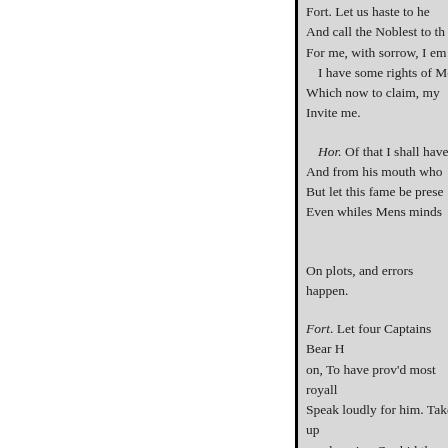Fort. Let us haste to he And call the Noblest to th For me, with sorrow, I em I have some rights of Me Which now to claim, my Invite me.
Hor. Of that I shall have And from his mouth who But let this fame be prese Even whiles Mens minds
On plots, and errors happen.
Fort. Let four Captains Bear H on, To have prov'd most royall Speak loudly for him. Take up much amiss. Go, bid the Soldi
foot off.